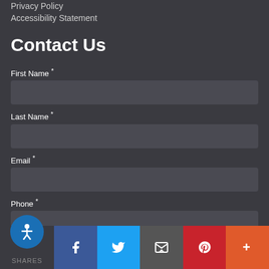Privacy Policy
Accessibility Statement
Contact Us
First Name *
Last Name *
Email *
Phone *
Questions